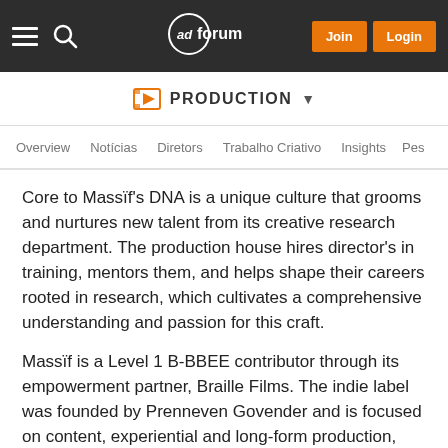adforum | Join | Login
PRODUCTION
Overview | Notícias | Diretors | Trabalho Criativo | Insights | Pes
Core to Massïf's DNA is a unique culture that grooms and nurtures new talent from its creative research department. The production house hires director's in training, mentors them, and helps shape their careers rooted in research, which cultivates a comprehensive understanding and passion for this craft.
Massïf is a Level 1 B-BBEE contributor through its empowerment partner, Braille Films. The indie label was founded by Prenneven Govender and is focused on content, experiential and long-form production, sourcing directors from the Massïf roster.
Massïf has the ambition to create a home for filmmakers,